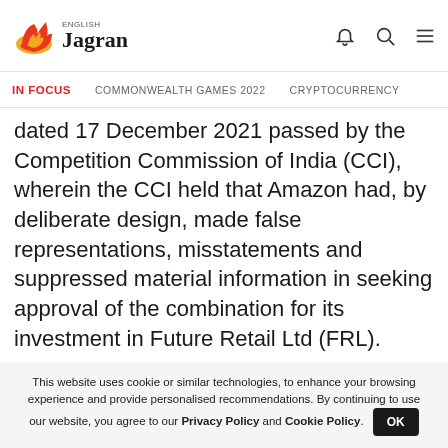English Jagran
IN FOCUS   COMMONWEALTH GAMES 2022   CRYPTOCURRENCY
dated 17 December 2021 passed by the Competition Commission of India (CCI), wherein the CCI held that Amazon had, by deliberate design, made false representations, misstatements and suppressed material information in seeking approval of the combination for its investment in Future Retail Ltd (FRL).
The CCI order also imposed penalties of over Rs 200
Read More
This website uses cookie or similar technologies, to enhance your browsing experience and provide personalised recommendations. By continuing to use our website, you agree to our Privacy Policy and Cookie Policy. OK